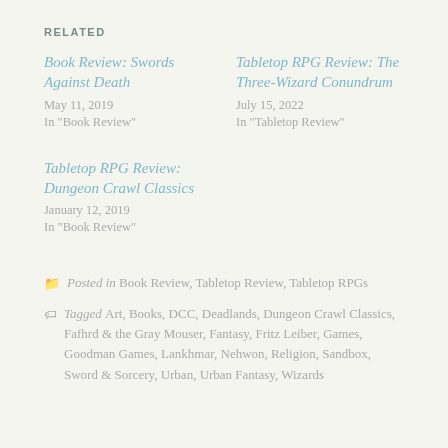RELATED
Book Review: Swords Against Death
May 11, 2019
In "Book Review"
Tabletop RPG Review: The Three-Wizard Conundrum
July 15, 2022
In "Tabletop Review"
Tabletop RPG Review: Dungeon Crawl Classics
January 12, 2019
In "Book Review"
Posted in Book Review, Tabletop Review, Tabletop RPGs
Tagged Art, Books, DCC, Deadlands, Dungeon Crawl Classics, Fafhrd & the Gray Mouser, Fantasy, Fritz Leiber, Games, Goodman Games, Lankhmar, Nehwon, Religion, Sandbox, Sword & Sorcery, Urban, Urban Fantasy, Wizards